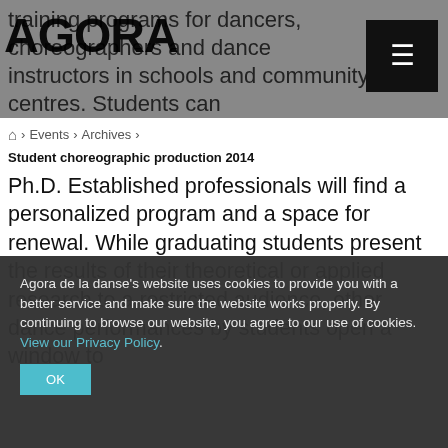training programs for dancers, choreographers and dance instructors in schools and community centres. Students can
[Figure (logo): AGORA logo in large bold black text overlaid on grey header]
🏠 > Events > Archives >
Student choreographic production 2014
Ph.D. Established professionals will find a personalized program and a space for renewal. While graduating students present the results of their theoretical or applied research to a restricted audience, other dance performances by students open a window to
Agora de la danse's website uses cookies to provide you with a better service and make sure the website works properly. By continuing to browse our website, you agree to our use of cookies. View our Privacy Policy.
OK